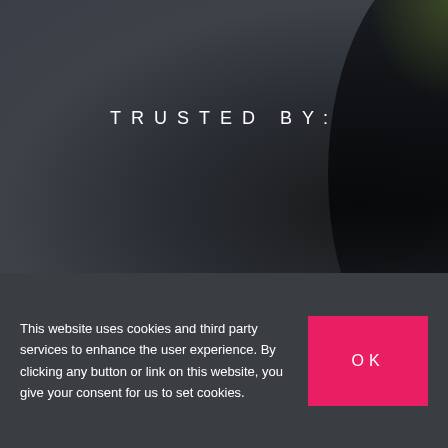[Figure (photo): Dark blurred background photo with a silhouette on the right side and a green/olive accent in the top right corner.]
TRUSTED BY:
This website uses cookies and third party services to enhance the user experience. By clicking any button or link on this website, you give your consent for us to set cookies.
OK